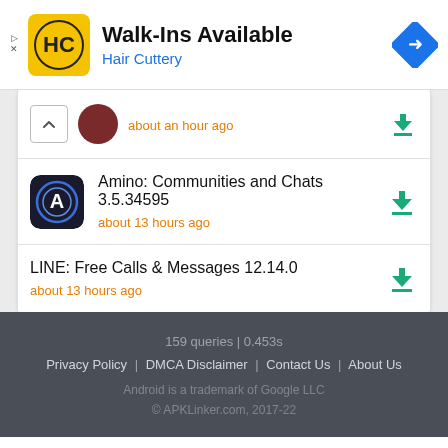[Figure (screenshot): Advertisement banner for Hair Cuttery showing Walk-Ins Available with HC logo and navigation icon]
about an hour ago
Amino: Communities and Chats 3.5.34595
about 13 hours ago
LINE: Free Calls & Messages 12.14.0
about 13 hours ago
159 queries | 0.453s
Privacy Policy | DMCA Disclaimer | Contact Us | About Us
Android is a trademark of Google LLC
© APKLinker.com, 2017-22